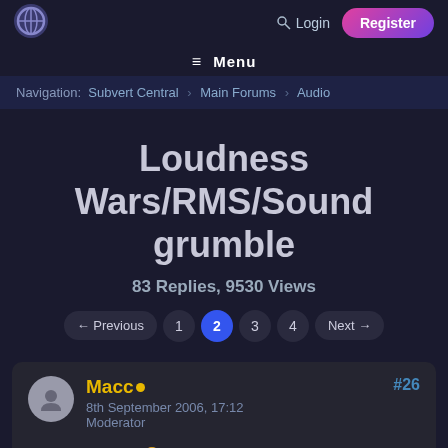Login  Register
≡ Menu
Navigation: Subvert Central › Main Forums › Audio
Loudness Wars/RMS/Sound grumble
83 Replies, 9530 Views
← Previous  1  2  3  4  Next →
Macc • 8th September 2006, 17:12 Moderator #26 After mastering? 🙂